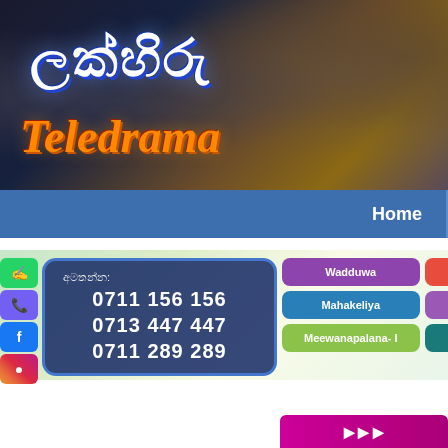[Figure (screenshot): Hero banner with Sinhala title (ලක්හිරු) and Teledrama text overlay on a photo collage background showing Sri Lankan actors]
Home
[Figure (infographic): Banner with social media icons (WhatsApp, Viber, Facebook, Instagram), phone numbers box with label 'අමතන්න:' and numbers 0711 156 156, 0713 447 447, 0711 289 289, and location buttons: Wadduwa, Meepe, Mahakeliya, Dodangoda, Meewanapalana-I, Arakavila]
Bottom button partially visible